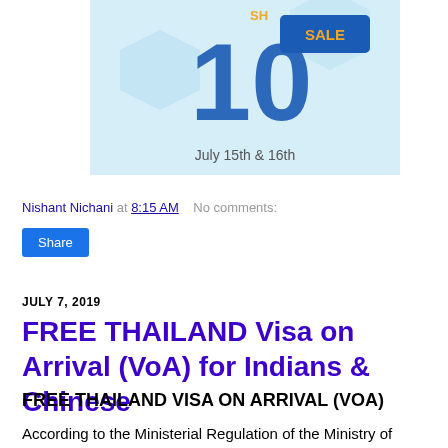[Figure (illustration): Promotional banner for a sale event showing 'SALE' text with 'July 15th & 16th' date]
Nishant Nichani at 8:15 AM   No comments:
Share
JULY 7, 2019
FREE THAILAND Visa on Arrival (VoA) for Indians & Chinese
FREE THAILAND VISA ON ARRIVAL (VOA)
According to the Ministerial Regulation of the Ministry of Interior of the Kingdom of Thailand, passport holders from Bulgaria,